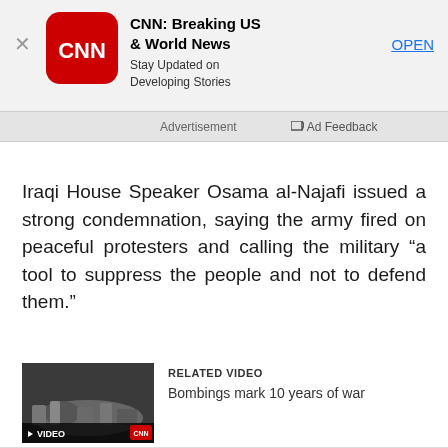[Figure (screenshot): CNN Breaking US & World News app advertisement banner with CNN logo icon, close button (X), app title, subtitle 'Stay Updated on Developing Stories', and OPEN link]
Advertisement   Ad Feedback
Iraqi House Speaker Osama al-Najafi issued a strong condemnation, saying the army fired on peaceful protesters and calling the military “a tool to suppress the people and not to defend them.”
[Figure (screenshot): Video thumbnail showing bombings scene with VIDEO label and CNN branding, play button overlay]
RELATED VIDEO
Bombings mark 10 years of war